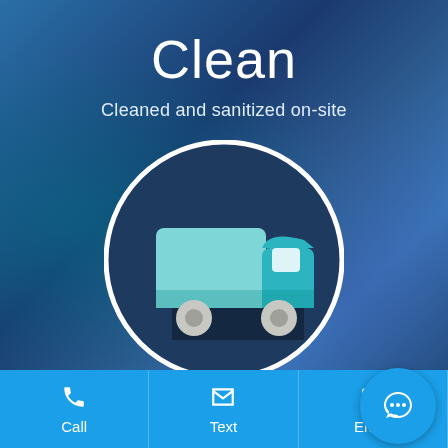Clean
Cleaned and sanitized on-site
[Figure (illustration): A delivery/moving truck icon inside a dark circular background with white border. The truck is flat-design style with teal/light blue body and darker teal cab section, white wheels, and a long shadow effect.]
Call
Text
Email